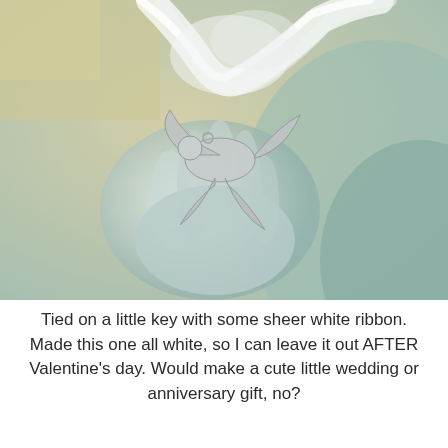[Figure (photo): Close-up photograph of a glass hand sculpture with a metallic dove or anchor charm tied with sheer white ribbon, placed on a soft pale green surface.]
Tied on a little key with some sheer white ribbon.  Made this one all white, so I can leave it out AFTER Valentine's day.  Would make a cute little wedding or anniversary gift, no?